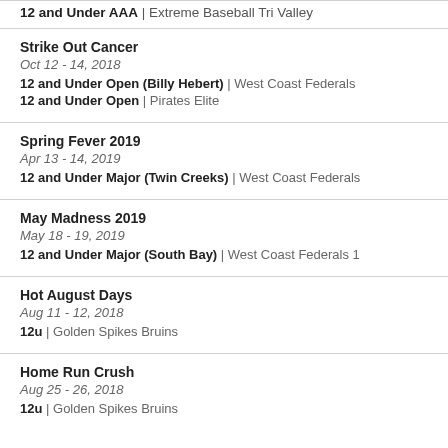12 and Under AAA | Extreme Baseball Tri Valley
Strike Out Cancer
Oct 12 - 14, 2018
12 and Under Open (Billy Hebert) | West Coast Federals
12 and Under Open | Pirates Elite
Spring Fever 2019
Apr 13 - 14, 2019
12 and Under Major (Twin Creeks) | West Coast Federals
May Madness 2019
May 18 - 19, 2019
12 and Under Major (South Bay) | West Coast Federals 1
Hot August Days
Aug 11 - 12, 2018
12u | Golden Spikes Bruins
Home Run Crush
Aug 25 - 26, 2018
12u | Golden Spikes Bruins